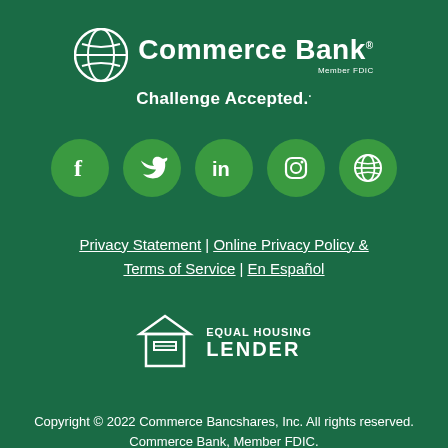[Figure (logo): Commerce Bank logo with globe icon and 'Member FDIC' text, tagline 'Challenge Accepted.']
[Figure (infographic): Five green circular social media icons: Facebook, Twitter, LinkedIn, Instagram, and a globe/web icon]
Privacy Statement | Online Privacy Policy & Terms of Service | En Español
[Figure (logo): Equal Housing Lender logo with house icon and 'EQUAL HOUSING LENDER' text]
Copyright © 2022 Commerce Bancshares, Inc. All rights reserved. Commerce Bank, Member FDIC.